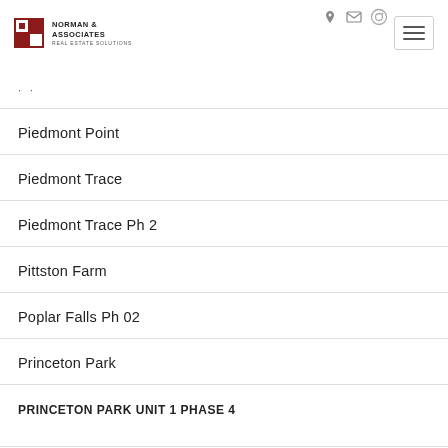Norman & Associates Real Estate Solutions
· ·
Piedmont Point
Piedmont Trace
Piedmont Trace Ph 2
Pittston Farm
Poplar Falls Ph 02
Princeton Park
PRINCETON PARK UNIT 1 PHASE 4